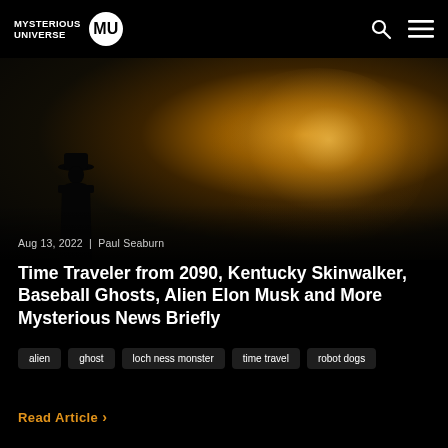MYSTERIOUS UNIVERSE MU
[Figure (photo): Dark atmospheric photo of a silhouetted figure in a hat standing inside a glowing tunnel or vortex with warm amber/golden light at the center]
Aug 13, 2022  |  Paul Seaburn
Time Traveler from 2090, Kentucky Skinwalker, Baseball Ghosts, Alien Elon Musk and More Mysterious News Briefly
alien
ghost
loch ness monster
time travel
robot dogs
Read Article >